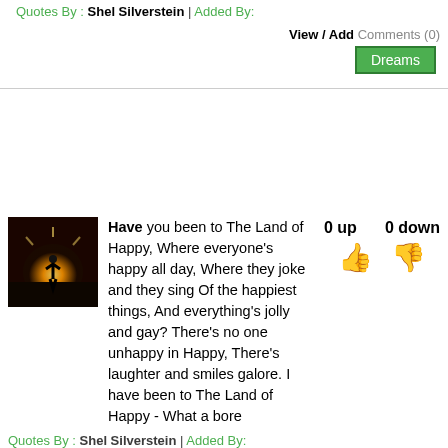Quotes By : Shel Silverstein | Added By:
View / Add Comments (0)
Dreams
Have you been to The Land of Happy, Where everyone's happy all day, Where they joke and they sing Of the happiest things, And everything's jolly and gay? There's no one unhappy in Happy, There's laughter and smiles galore. I have been to The Land of Happy - What a bore
0 up   0 down
Quotes By : Shel Silverstein | Added By:
View / Add Comments (0)
Funny